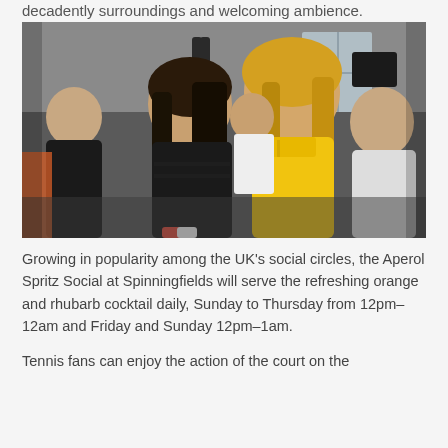decadently surroundings and welcoming ambience.
[Figure (photo): Two young women posing together at a social event inside a stylish venue. The woman on the left wears a black outfit with long dark hair. The woman on the right wears a yellow dress with long blonde hair. Several other people are visible in the background.]
Growing in popularity among the UK's social circles, the Aperol Spritz Social at Spinningfields will serve the refreshing orange and rhubarb cocktail daily, Sunday to Thursday from 12pm–12am and Friday and Sunday 12pm–1am.
Tennis fans can enjoy the action of the court on the